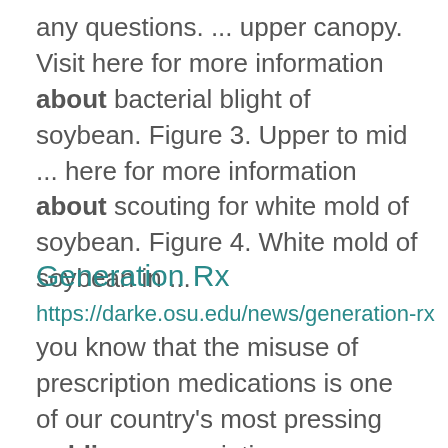any questions. ... upper canopy. Visit here for more information about bacterial blight of soybean. Figure 3. Upper to mid ... here for more information about scouting for white mold of soybean. Figure 4. White mold of soybean in ...
Generation Rx
https://darke.osu.edu/news/generation-rx
you know that the misuse of prescription medications is one of our country's most pressing public ... prescription medications can help us live longer and healthier lives, but any medication has the potential to ...